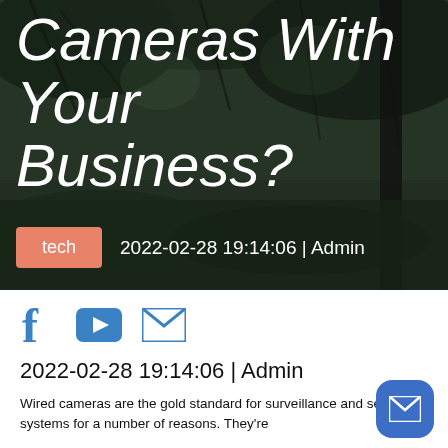[Figure (photo): Dark background image showing tree branches against a dimly lit sky with a dark pole/post, used as hero background for a blog article about wired cameras.]
Cameras With Your Business?
tech
2022-02-28 19:14:06 | Admin
[Figure (infographic): Social media share icons: Facebook (f), YouTube (play button), and email (envelope icon) in blue.]
2022-02-28 19:14:06 | Admin
Wired cameras are the gold standard for surveillance and security systems for a number of reasons. They're